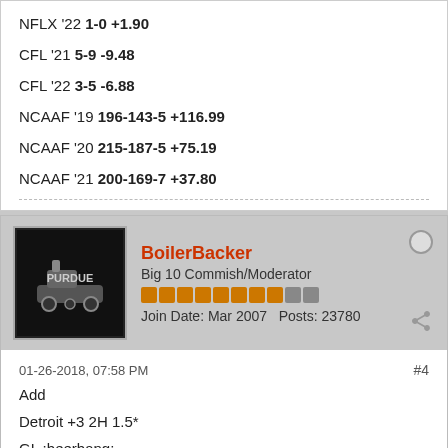NFLX '22 1-0 +1.90
CFL '21 5-9 -9.48
CFL '22 3-5 -6.88
NCAAF '19 196-143-5 +116.99
NCAAF '20 215-187-5 +75.19
NCAAF '21 200-169-7 +37.80
BoilerBacker
Big 10 Commish/Moderator
Join Date: Mar 2007   Posts: 23780
01-26-2018, 07:58 PM
#4
Add
Detroit +3 2H 1.5*
GL :beerbang: